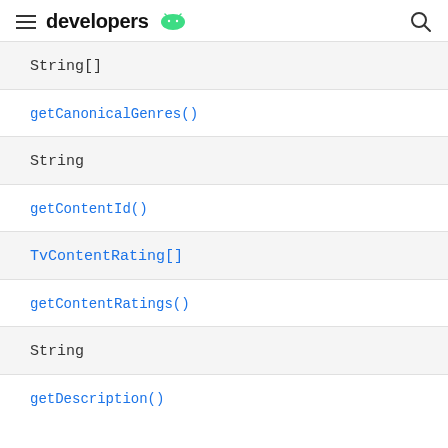developers
String[]
getCanonicalGenres()
String
getContentId()
TvContentRating[]
getContentRatings()
String
getDescription()